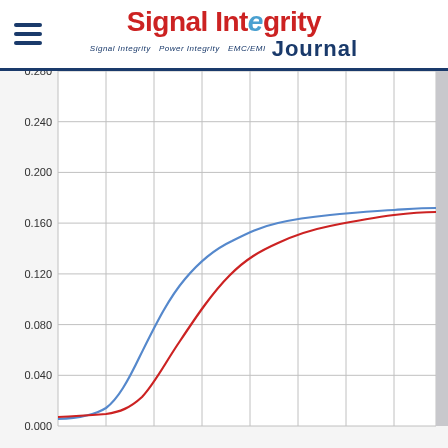Signal Integrity Journal
[Figure (continuous-plot): Line chart with two curves (blue and red) showing values rising from ~0.000 at the left to ~0.140 at the right. The blue curve rises earlier and slightly higher than the red curve. Y-axis labels: 0.000, 0.040, 0.080, 0.120, 0.160, 0.200, 0.240, 0.280. No x-axis labels visible.]